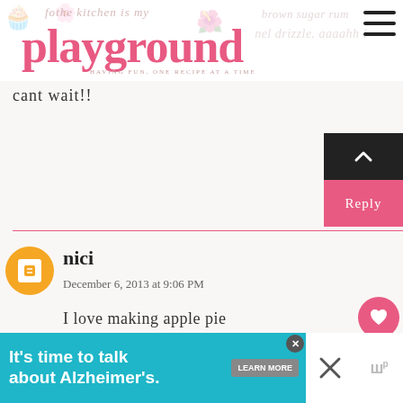the kitchen is my playground — having fun, one recipe at a time
cant wait!!
nici
December 6, 2013 at 9:06 PM
I love making apple pie
WHAT'S NEXT → Overnight Cinnamon R...
Mary L
[Figure (screenshot): Advertisement banner: It's time to talk about Alzheimer's. LEARN MORE. Alzheimer's Association logo.]